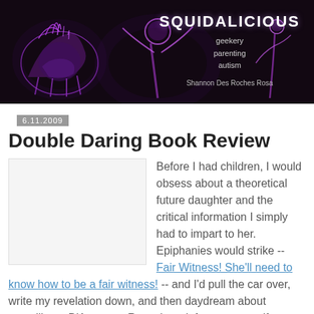[Figure (photo): Squidalicious blog header banner with dark purple/black background showing glowing purple skeletal/fantastical figures. Text reads SQUIDALICIOUS with subtitle 'geekery parenting autism' and author 'Shannon Des Roches Rosa']
6.11.2009
Double Daring Book Review
[Figure (photo): Book cover image placeholder (white rectangle with light border)]
Before I had children, I would obsess about a theoretical future daughter and the critical information I simply had to impart to her. Epiphanies would strike -- Fair Witness! She'll need to know how to be a fair witness! -- and I'd pull the car over, write my revelation down, and then daydream about compiling a D'Artagnan-Rosenberg infostream manifesto to hand to that girl, once she appeared and when